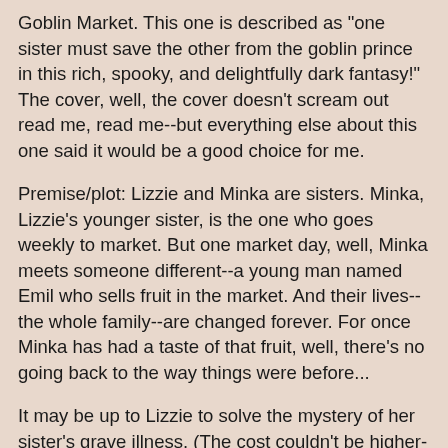Goblin Market. This one is described as "one sister must save the other from the goblin prince in this rich, spooky, and delightfully dark fantasy!" The cover, well, the cover doesn't scream out read me, read me--but everything else about this one said it would be a good choice for me.
Premise/plot: Lizzie and Minka are sisters. Minka, Lizzie's younger sister, is the one who goes weekly to market. But one market day, well, Minka meets someone different--a young man named Emil who sells fruit in the market. And their lives--the whole family--are changed forever. For once Minka has had a taste of that fruit, well, there's no going back to the way things were before...
It may be up to Lizzie to solve the mystery of her sister's grave illness. (The cost couldn't be higher--if Lizzie fails to find a cure in time, her sister will undoubtedly die. She wouldn't be the first to do so.) But she won't have to do it all alone. Lizzie teams up with a neighboring farm boy, Jakob, and together they will brainstorm a solution.
My thoughts: It was definitely a fantasy with horror elements.